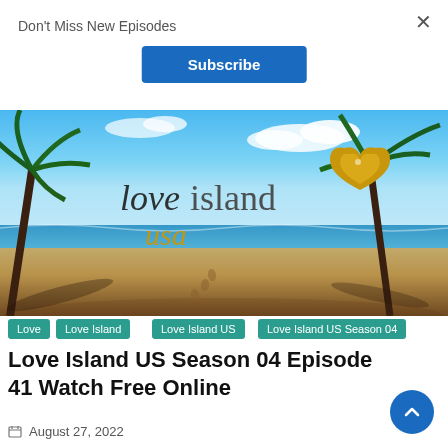Don't Miss New Episodes
×
Subscribe
[Figure (photo): Love Island USA promotional image showing a tropical beach scene with palm trees, ocean, blue sky, and the 'love island usa' logo with a gold glitter heart]
Love
Love Island
Love Island US
Love Island US Season 04
Love Island US Season 04 Episode 41 Watch Free Online
August 27, 2022